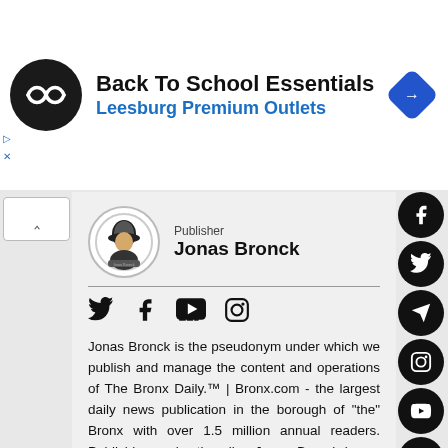[Figure (screenshot): Ad banner: Back To School Essentials - Leesburg Premium Outlets with logo circle and navigation icon]
Back To School Essentials
Leesburg Premium Outlets
Publisher
Jonas Bronck
Jonas Bronck is the pseudonym under which we publish and manage the content and operations of The Bronx Daily.™ | Bronx.com - the largest daily news publication in the borough of "the" Bronx with over 1.5 million annual readers. Publishing under the alias Jonas Bronck is our humble way of paying tribute to the person, whose name lives on in the name of our beloved borough.